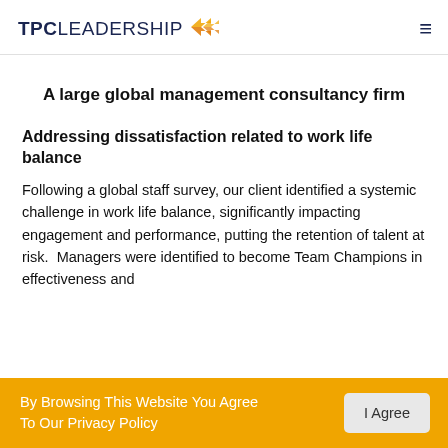TPC LEADERSHIP
A large global management consultancy firm
Addressing dissatisfaction related to work life balance
Following a global staff survey, our client identified a systemic challenge in work life balance, significantly impacting engagement and performance, putting the retention of talent at risk.  Managers were identified to become Team Champions in effectiveness and
By Browsing This Website You Agree To Our Privacy Policy